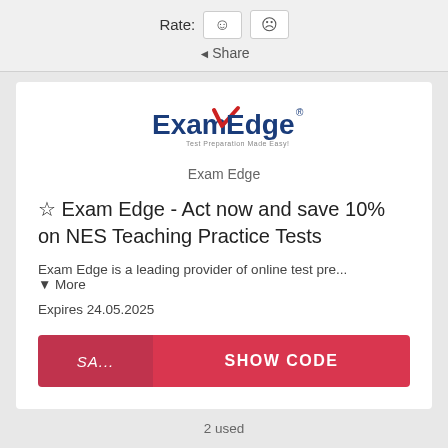Rate: 🙂 ☹
◄ Share
[Figure (logo): ExamEdge logo with red checkmark and blue/red text]
Exam Edge
☆ Exam Edge - Act now and save 10% on NES Teaching Practice Tests
Exam Edge is a leading provider of online test pre...   ▼ More
Expires 24.05.2025
SA... SHOW CODE
2 used